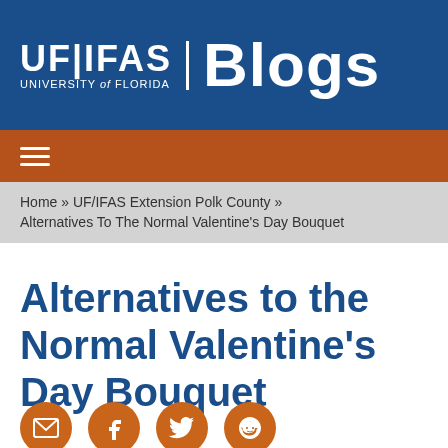[Figure (logo): UF/IFAS University of Florida Blogs header logo on blue background]
Home » UF/IFAS Extension Polk County » Alternatives To The Normal Valentine's Day Bouquet
Alternatives to the Normal Valentine's Day Bouquet
[Figure (infographic): Social sharing icons: email, Facebook, Twitter, Reddit — orange circular buttons]